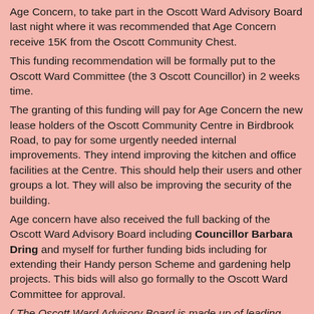Age Concern, to take part in the Oscott Ward Advisory Board last night where it was recommended that Age Concern receive 15K from the Oscott Community Chest.
This funding recommendation will be formally put to the Oscott Ward Committee (the 3 Oscott Councillor) in 2 weeks time.
The granting of this funding will pay for Age Concern the new lease holders of the Oscott Community Centre in Birdbrook Road, to pay for some urgently needed internal improvements. They intend improving the kitchen and office facilities at the Centre. This should help their users and other groups a lot. They will also be improving the security of the building.
Age concern have also received the full backing of the Oscott Ward Advisory Board including Councillor Barbara Dring and myself for further funding bids including for extending their Handy person Scheme and gardening help projects. This bids will also go formally to the Oscott Ward Committee for approval.
( The Oscott Ward Advisory Board is made up of leading community Representatives, Voluntary organisations and Representatives of the, Fire brigade, Police and health